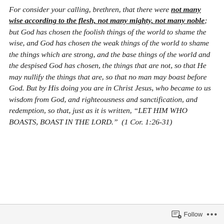For consider your calling, brethren, that there were not many wise according to the flesh, not many mighty, not many noble; but God has chosen the foolish things of the world to shame the wise, and God has chosen the weak things of the world to shame the things which are strong, and the base things of the world and the despised God has chosen, the things that are not, so that He may nullify the things that are, so that no man may boast before God. But by His doing you are in Christ Jesus, who became to us wisdom from God, and righteousness and sanctification, and redemption, so that, just as it is written, “LET HIM WHO BOASTS, BOAST IN THE LORD.”  (1 Cor. 1:26-31)
Follow ...